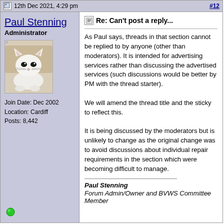12th Dec 2021, 4:29 pm  #12
Paul Stenning
Administrator
[Figure (photo): Avatar photo of a white cat lying down, looking at the camera]
Join Date: Dec 2002
Location: Cardiff
Posts: 8,442
Re: Can't post a reply...
As Paul says, threads in that section cannot be replied to by anyone (other than moderators). It is intended for advertising services rather than discussing the advertised services (such discussions would be better by PM with the thread starter).

We will amend the thread title and the sticky to reflect this.

It is being discussed by the moderators but is unlikely to change as the original change was to avoid discussions about individual repair requirements in the section which were becoming difficult to manage.
Paul Stenning
Forum Admin/Owner and BVWS Committee Member